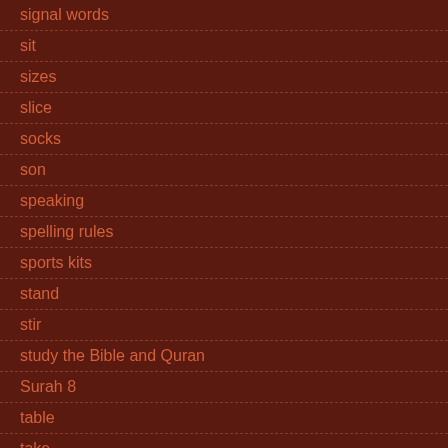signal words
sit
sizes
slice
socks
son
speaking
spelling rules
sports kits
stand
stir
study the Bible and Quran
Surah 8
table
take
teacher
teeth
The First Muslim